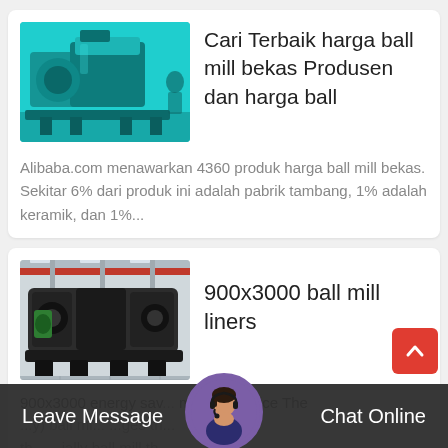[Figure (photo): Teal industrial ball mill machine in factory]
Cari Terbaik harga ball mill bekas Produsen dan harga ball
Alibaba.com menawarkan 4360 produk harga ball mill bekas. Sekitar 6% dari produk ini adalah pabrik tambang, 1% adalah keramik, dan 1%...
[Figure (photo): Black industrial crushing/grinding machine in a factory with red overhead crane]
900x3000 ball mill liners
900x3000 energy sav... mill china price The ...y) ball mi... ...ges th... th... ...ially ball mill th...